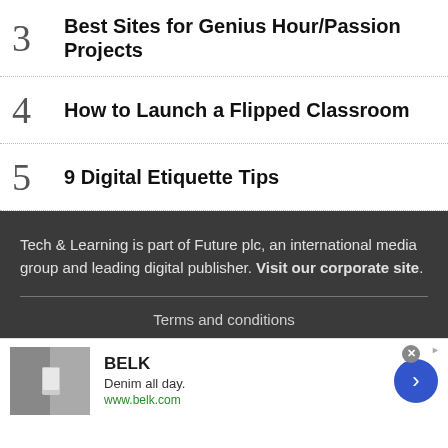3  Best Sites for Genius Hour/Passion Projects
4  How to Launch a Flipped Classroom
5  9 Digital Etiquette Tips
Tech & Learning is part of Future plc, an international media group and leading digital publisher. Visit our corporate site.
Terms and conditions